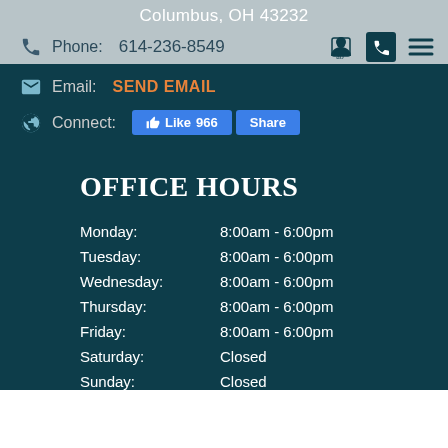Columbus, OH 43232
Phone: 614-236-8549
Email: SEND EMAIL
Connect: Like 966 Share
OFFICE HOURS
| Day | Hours |
| --- | --- |
| Monday: | 8:00am - 6:00pm |
| Tuesday: | 8:00am - 6:00pm |
| Wednesday: | 8:00am - 6:00pm |
| Thursday: | 8:00am - 6:00pm |
| Friday: | 8:00am - 6:00pm |
| Saturday: | Closed |
| Sunday: | Closed |